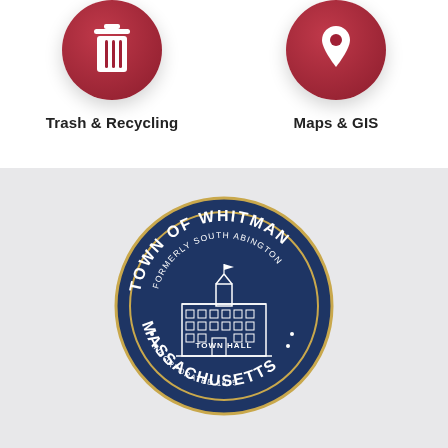[Figure (illustration): Dark red circular icon with white trash/recycling bin symbol]
Trash & Recycling
[Figure (illustration): Dark red circular icon with white map pin/location symbol]
Maps & GIS
[Figure (logo): Official seal of the Town of Whitman, Massachusetts. Dark navy blue circular seal with gold border ring, featuring Town Hall building illustration in white, text reading TOWN OF WHITMAN · FORMERLY SOUTH ABINGTON · TOWN HALL INCORPORATED 1875 · MASSACHUSETTS]